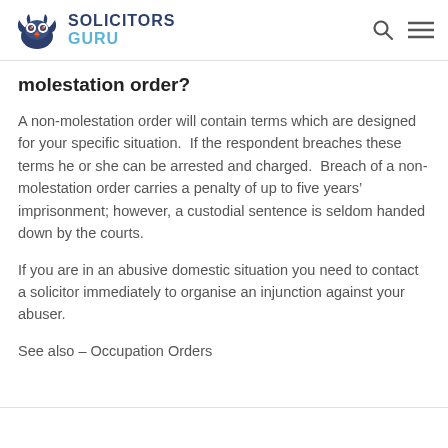SOLICITORS GURU
molestation order?
A non-molestation order will contain terms which are designed for your specific situation.  If the respondent breaches these terms he or she can be arrested and charged.  Breach of a non-molestation order carries a penalty of up to five years’ imprisonment; however, a custodial sentence is seldom handed down by the courts.
If you are in an abusive domestic situation you need to contact a solicitor immediately to organise an injunction against your abuser.
See also – Occupation Orders